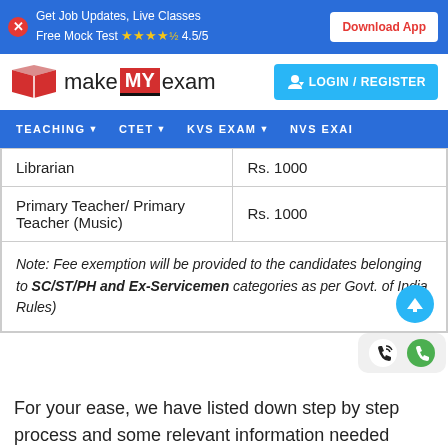Get Job Updates, Live Classes Free Mock Test ★★★★½ 4.5/5 | Download App
[Figure (logo): makeMyexam logo with open book icon and MY in red box]
| Librarian | Rs. 1000 |
| Primary Teacher/ Primary Teacher (Music) | Rs. 1000 |
| Note: Fee exemption will be provided to the candidates belonging to SC/ST/PH and Ex-Servicemen categories as per Govt. of India Rules) |  |
For your ease, we have listed down step by step process and some relevant information needed while filling the application form. Please refer the below link for details: